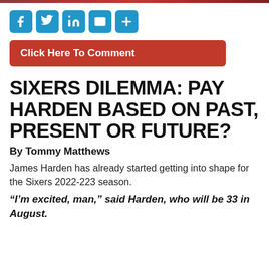[Figure (other): Social media sharing icons: Facebook, Twitter, LinkedIn, Email, and More (plus sign), each in a blue rounded square button]
Click Here To Comment
SIXERS DILEMMA: PAY HARDEN BASED ON PAST, PRESENT OR FUTURE?
By Tommy Matthews
James Harden has already started getting into shape for the Sixers 2022-223 season.
“I’m excited, man,” said Harden, who will be 33 in August.